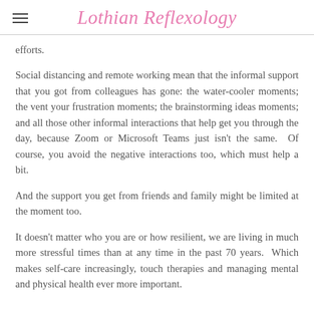Lothian Reflexology
efforts.
Social distancing and remote working mean that the informal support that you got from colleagues has gone: the water-cooler moments; the vent your frustration moments; the brainstorming ideas moments; and all those other informal interactions that help get you through the day, because Zoom or Microsoft Teams just isn't the same.  Of course, you avoid the negative interactions too, which must help a bit.
And the support you get from friends and family might be limited at the moment too.
It doesn't matter who you are or how resilient, we are living in much more stressful times than at any time in the past 70 years.  Which makes self-care increasingly, touch therapies and managing mental and physical health ever more important.